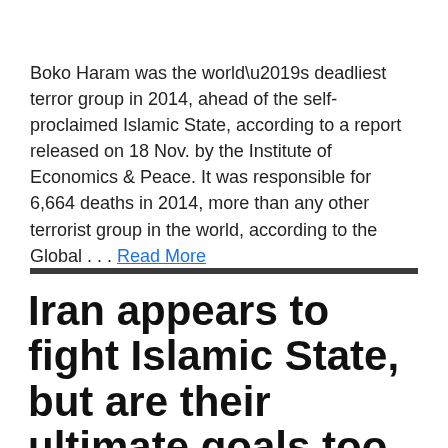Boko Haram was the world’s deadliest terror group in 2014, ahead of the self-proclaimed Islamic State, according to a report released on 18 Nov. by the Institute of Economics & Peace. It was responsible for 6,664 deaths in 2014, more than any other terrorist group in the world, according to the Global . . . Read More
Iran appears to fight Islamic State, but are their ultimate goals too similar for comfort?